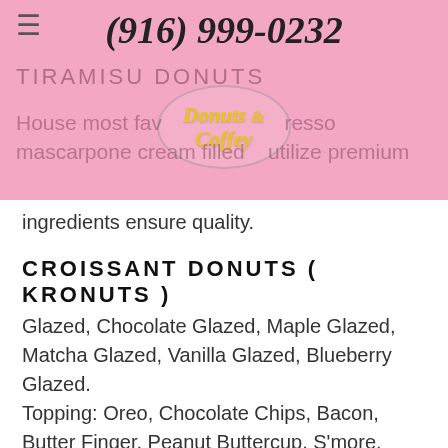(916) 999-0232
TIRAMISU DONUTS
[Figure (logo): Donuts & Coffey logo — circular donut shape with yellow italic text reading 'Donuts & Coffey']
House most favorite b espresso mascarpone cream filled utilize premium ingredients ensure quality.
CROISSANT DONUTS ( KRONUTS )
Glazed, Chocolate Glazed, Maple Glazed, Matcha Glazed, Vanilla Glazed, Blueberry Glazed. Topping: Oreo, Chocolate Chips, Bacon, Butter Finger, Peanut Buttercup, S'more.
MOCHI DONUT
Glazes:Glaze, Chocolate, Maple, Strawberry,